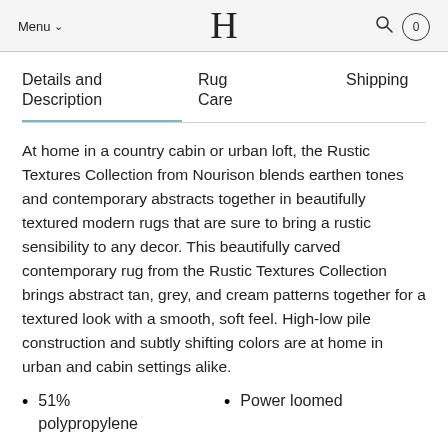Menu  H  0
Details and Description | Rug Care | Shipping
At home in a country cabin or urban loft, the Rustic Textures Collection from Nourison blends earthen tones and contemporary abstracts together in beautifully textured modern rugs that are sure to bring a rustic sensibility to any decor. This beautifully carved contemporary rug from the Rustic Textures Collection brings abstract tan, grey, and cream patterns together for a textured look with a smooth, soft feel. High-low pile construction and subtly shifting colors are at home in urban and cabin settings alike.
51% polypropylene
Power loomed